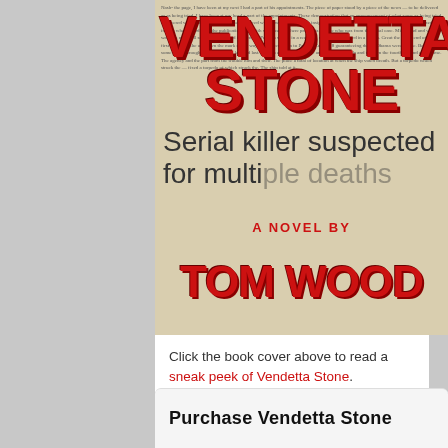[Figure (illustration): Book cover of 'Vendetta Stone: A Novel by Tom Wood'. The cover shows a newspaper background with small text columns, a large headline reading 'Serial killer suspected for multiple deaths', and the title 'VENDETTA STONE' in large bold red letters at the top, with 'A NOVEL BY TOM WOOD' in red letters at the bottom.]
Click the book cover above to read a sneak peek of Vendetta Stone.
Purchase Vendetta Stone